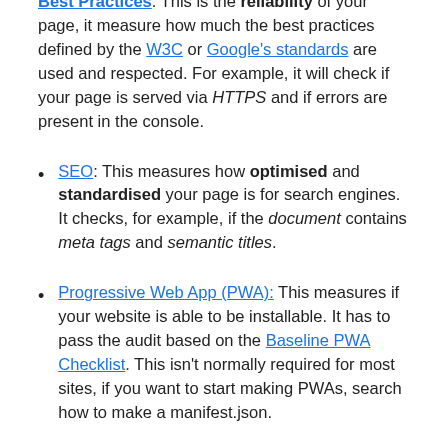Best Practices: This is the reliability of your page, it measure how much the best practices defined by the W3C or Google's standards are used and respected. For example, it will check if your page is served via HTTPS and if errors are present in the console.
SEO: This measures how optimised and standardised your page is for search engines. It checks, for example, if the document contains meta tags and semantic titles.
Progressive Web App (PWA): This measures if your website is able to be installable. It has to pass the audit based on the Baseline PWA Checklist. This isn't normally required for most sites, if you want to start making PWAs, search how to make a manifest.json.
You need a low Time To First Byte. This means that the